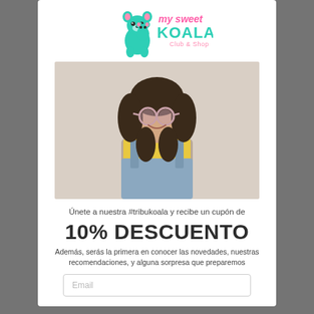[Figure (logo): My Sweet Koala Club & Shop logo with cartoon koala in teal/mint color]
[Figure (photo): Young girl with curly hair wearing pink round sunglasses, yellow top, and denim overalls, smiling, against a light beige background]
Únete a nuestra #tribukoala y recibe un cupón de
10% DESCUENTO
Además, serás la primera en conocer las novedades, nuestras recomendaciones, y alguna sorpresa que preparemos
Email